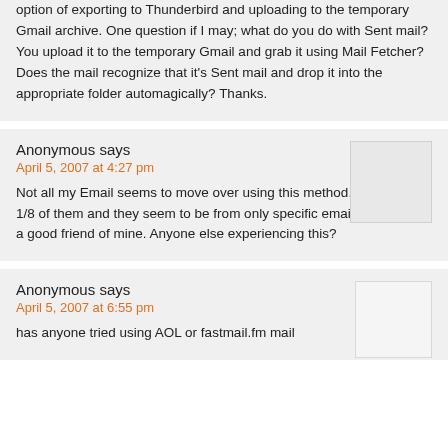option of exporting to Thunderbird and uploading to the temporary Gmail archive. One question if I may; what do you do with Sent mail? You upload it to the temporary Gmail and grab it using Mail Fetcher? Does the mail recognize that it's Sent mail and drop it into the appropriate folder automagically? Thanks.
Anonymous says
April 5, 2007 at 4:27 pm
Not all my Email seems to move over using this method. I get maybe 1/8 of them and they seem to be from only specific email address like a good friend of mine. Anyone else experiencing this?
Anonymous says
April 5, 2007 at 6:55 pm
has anyone tried using AOL or fastmail.fm mail